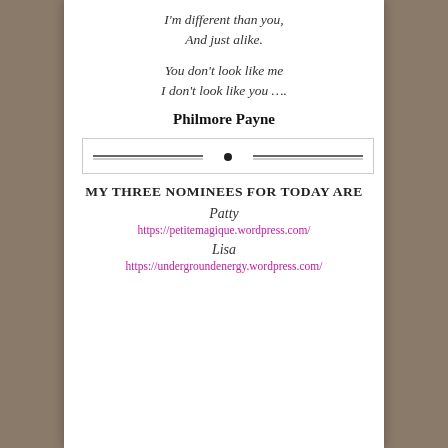I'm different than you,
And just alike.
You don't look like me
I don't look like you ….
Philmore Payne
[Figure (illustration): Decorative horizontal divider with two lines and a small dot in the center, inside a rectangular border]
MY THREE NOMINEES FOR TODAY ARE
Patty
https://petitemagique.wordpress.com/
Lisa
https://undergroundenergy.wordpress.com/